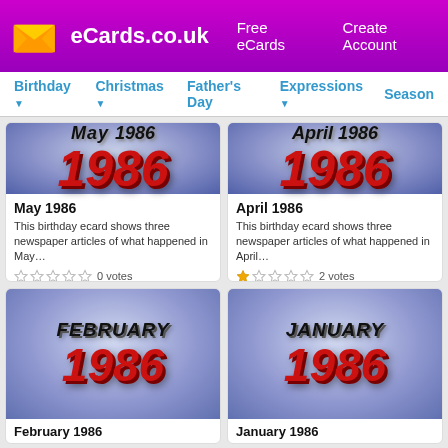eCards.co.uk  Free eCards  Create Account
Birthday  Christmas  Father's Day  Expressions  Season
[Figure (screenshot): May 1986 birthday ecard thumbnail showing '1986' in large red text on a purple/blue background]
May 1986
This birthday ecard shows three newspaper articles of what happened in May…
0 votes
[Figure (screenshot): April 1986 birthday ecard thumbnail showing '1986' in large red text on a purple/blue background]
April 1986
This birthday ecard shows three newspaper articles of what happened in April…
2 votes
[Figure (screenshot): February 1986 birthday ecard thumbnail showing 'FEBRUARY 1986' text on a purple/blue background]
February 1986
[Figure (screenshot): January 1986 birthday ecard thumbnail showing 'JANUARY 1986' text on a purple/blue background]
January 1986